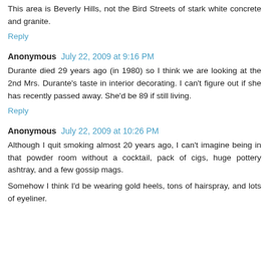This area is Beverly Hills, not the Bird Streets of stark white concrete and granite.
Reply
Anonymous  July 22, 2009 at 9:16 PM
Durante died 29 years ago (in 1980) so I think we are looking at the 2nd Mrs. Durante's taste in interior decorating. I can't figure out if she has recently passed away. She'd be 89 if still living.
Reply
Anonymous  July 22, 2009 at 10:26 PM
Although I quit smoking almost 20 years ago, I can't imagine being in that powder room without a cocktail, pack of cigs, huge pottery ashtray, and a few gossip mags.
Somehow I think I'd be wearing gold heels, tons of hairspray, and lots of eyeliner.